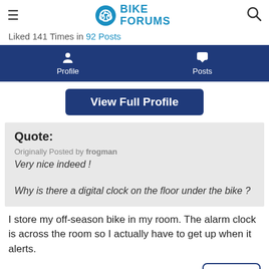BIKE FORUMS
Liked 141 Times in 92 Posts
Profile   Posts
View Full Profile
Quote:
Originally Posted by frogman
Very nice indeed !

Why is there a digital clock on the floor under the bike ?
I store my off-season bike in my room. The alarm clock is across the room so I actually have to get up when it alerts.
Reply